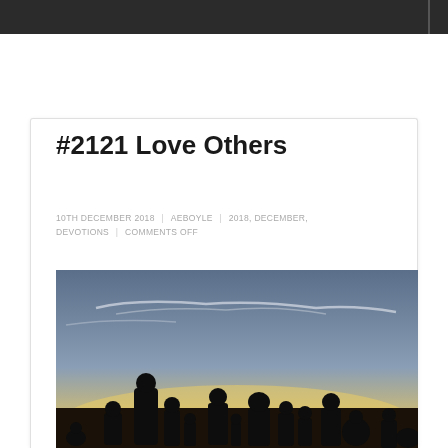#2121 Love Others
10TH DECEMBER 2018  |  AEBOYLE  |  2018, DECEMBER, DEVOTIONS  |  COMMENTS OFF
[Figure (photo): Silhouette of a group of people standing together against a twilight sky with wispy clouds, warm golden light on the horizon]